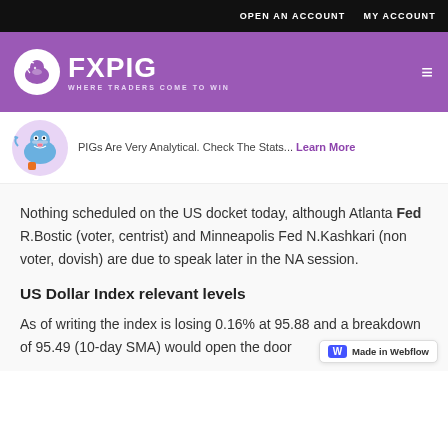OPEN AN ACCOUNT   MY ACCOUNT
[Figure (logo): FXPIG logo with purple background. Circle logo with pig graphic, brand name FXPIG, tagline WHERE TRADERS COME TO WIN]
PIGs Are Very Analytical. Check The Stats... Learn More
Nothing scheduled on the US docket today, although Atlanta Fed R.Bostic (voter, centrist) and Minneapolis Fed N.Kashkari (non voter, dovish) are due to speak later in the NA session.
US Dollar Index relevant levels
As of writing the index is losing 0.16% at 95.88 and a breakdown of 95.49 (10-day SMA) would open the door